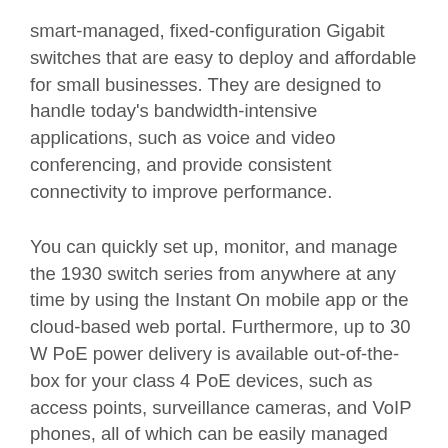smart-managed, fixed-configuration Gigabit switches that are easy to deploy and affordable for small businesses. They are designed to handle today's bandwidth-intensive applications, such as voice and video conferencing, and provide consistent connectivity to improve performance.
You can quickly set up, monitor, and manage the 1930 switch series from anywhere at any time by using the Instant On mobile app or the cloud-based web portal. Furthermore, up to 30 W PoE power delivery is available out-of-the-box for your class 4 PoE devices, such as access points, surveillance cameras, and VoIP phones, all of which can be easily managed from the same platform.
Since we are an certified Aruba partner in Dubai, UAE